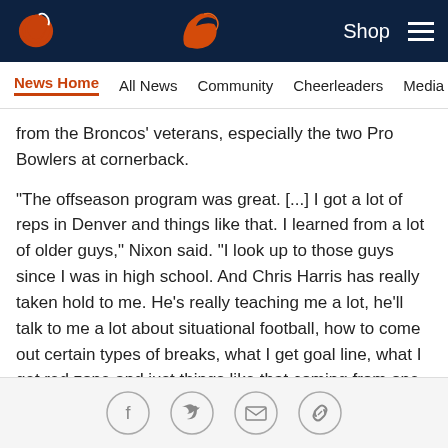Denver Broncos website header with logo, Shop link, and hamburger menu
News Home  All News  Community  Cheerleaders  Media Room
from the Broncos' veterans, especially the two Pro Bowlers at cornerback.
"The offseason program was great. [...] I got a lot of reps in Denver and things like that. I learned from a lot of older guys," Nixon said. "I look up to those guys since I was in high school. And Chris Harris has really taken hold to me. He's really teaching me a lot, he'll talk to me a lot about situational football, how to come out certain types of breaks, what I get goal line, what I get red zone and just things like that coming from one of the people I feel like is a mentor to me is a great thing."
Social share icons: Facebook, Twitter, Email, Link